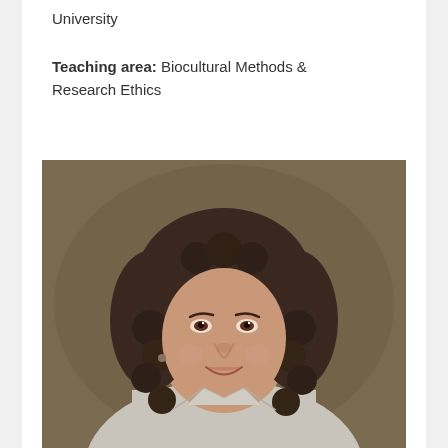University
Teaching area: Biocultural Methods & Research Ethics
[Figure (photo): Professional headshot portrait of a woman with curly dark hair, smiling, wearing a light grey blazer, photographed against a warm brown/olive background.]